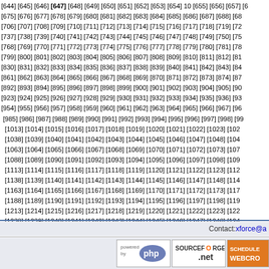[644] [645] [646] [647] [648] [649] [650] [651] [652] [653] [654] [655] [656] [657] [6... [675] [676] [677] [678] [679] [680] [681] [682] [683] [684] [685] [686] [687] [688] [68... (numeric index links list)
Contact: xforce@a...
[Figure (logo): Powered by PHP logo]
[Figure (logo): SourceForge.net logo]
[Figure (logo): Schedule WebCron logo (partially visible)]